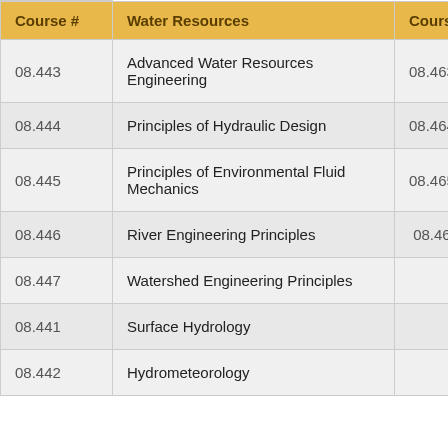| Course # | Water Resources | Course # | Tr… |
| --- | --- | --- | --- |
| 08.443 | Advanced Water Resources Engineering | 08.463 | Tra… Da… |
| 08.444 | Principles of Hydraulic Design | 08.464 | Ele… for… |
| 08.445 | Principles of Environmental Fluid Mechanics | 08.465 | Pa… |
| 08.446 | River Engineering Principles | 08.466 | Int… Mo… |
| 08.447 | Watershed Engineering Principles |  |  |
| 08.441 | Surface Hydrology |  |  |
| 08.442 | Hydrometeorology |  |  |